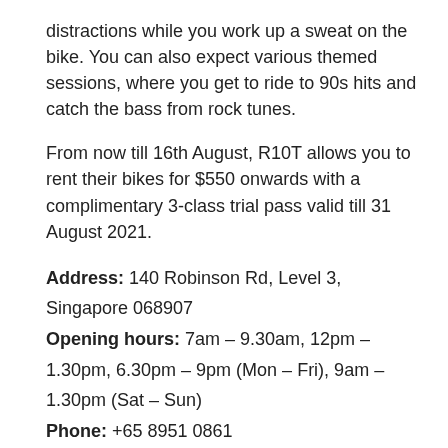distractions while you work up a sweat on the bike. You can also expect various themed sessions, where you get to ride to 90s hits and catch the bass from rock tunes.
From now till 16th August, R10T allows you to rent their bikes for $550 onwards with a complimentary 3-class trial pass valid till 31 August 2021.
Address: 140 Robinson Rd, Level 3, Singapore 068907
Opening hours: 7am – 9.30am, 12pm – 1.30pm, 6.30pm – 9pm (Mon – Fri), 9am – 1.30pm (Sat – Sun)
Phone: +65 8951 0861
Email: hi@r10t.sg
12. The Gym Pod
[Figure (photo): Image placeholder for The Gym Pod]